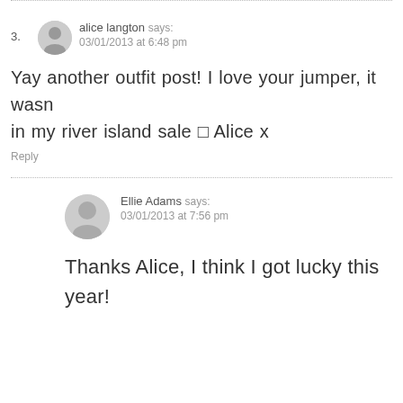3. alice langton says: 03/01/2013 at 6:48 pm
Yay another outfit post! I love your jumper, it wasn... in my river island sale □ Alice x
Reply
Ellie Adams says: 03/01/2013 at 7:56 pm
Thanks Alice, I think I got lucky this year!